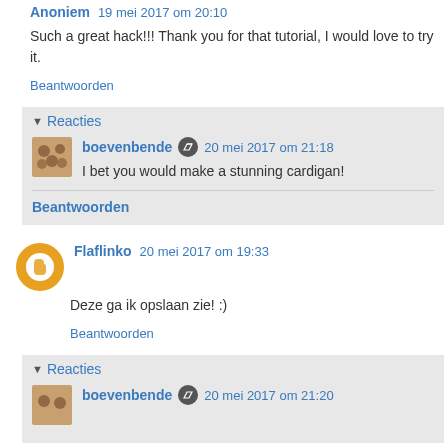Anoniem  19 mei 2017 om 20:10
Such a great hack!!! Thank you for that tutorial, I would love to try it.
Beantwoorden
Reacties
boevenbende  20 mei 2017 om 21:18
I bet you would make a stunning cardigan!
Beantwoorden
Flaflinko  20 mei 2017 om 19:33
Deze ga ik opslaan zie! :)
Beantwoorden
Reacties
boevenbende  20 mei 2017 om 21:20